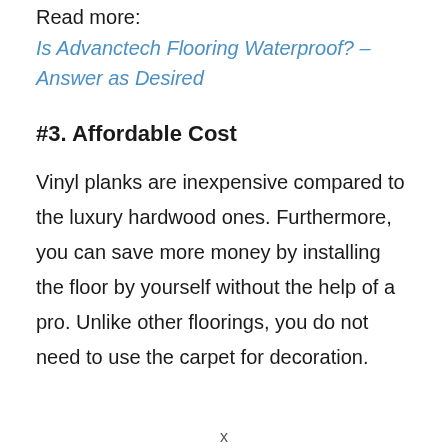Read more: Is Advanctech Flooring Waterproof? – Answer as Desired
#3. Affordable Cost
Vinyl planks are inexpensive compared to the luxury hardwood ones. Furthermore, you can save more money by installing the floor by yourself without the help of a pro. Unlike other floorings, you do not need to use the carpet for decoration.
x